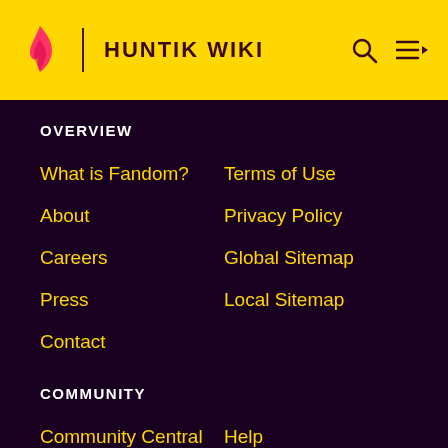HUNTIK WIKI
OVERVIEW
What is Fandom?
Terms of Use
About
Privacy Policy
Careers
Global Sitemap
Press
Local Sitemap
Contact
COMMUNITY
Community Central
Help
Support